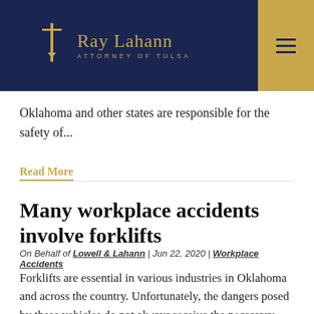Ray Lahann Attorney of Tulsa
Oklahoma and other states are responsible for the safety of...
Read More
Many workplace accidents involve forklifts
On Behalf of Lowell & Lahann | Jun 22, 2020 | Workplace Accidents
Forklifts are essential in various industries in Oklahoma and across the country. Unfortunately, the dangers posed by these vehicles do not always receive the necessary attention. Employers are